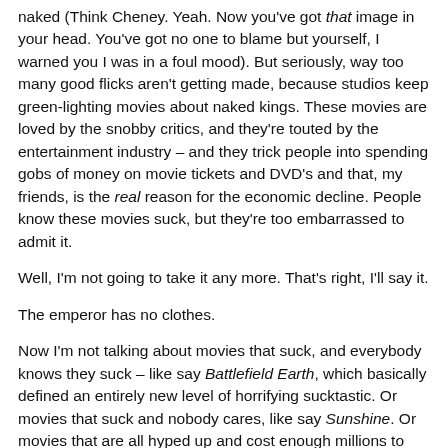naked (Think Cheney. Yeah. Now you've got that image in your head. You've got no one to blame but yourself, I warned you I was in a foul mood). But seriously, way too many good flicks aren't getting made, because studios keep green-lighting movies about naked kings. These movies are loved by the snobby critics, and they're touted by the entertainment industry – and they trick people into spending gobs of money on movie tickets and DVD's and that, my friends, is the real reason for the economic decline. People know these movies suck, but they're too embarrassed to admit it.
Well, I'm not going to take it any more. That's right, I'll say it.
The emperor has no clothes.
Now I'm not talking about movies that suck, and everybody knows they suck – like say Battlefield Earth, which basically defined an entirely new level of horrifying sucktastic. Or movies that suck and nobody cares, like say Sunshine. Or movies that are all hyped up and cost enough millions to feed all the starving brokers on Wall Street, but everybody knows are going to suck anyway, like say The Mummy: